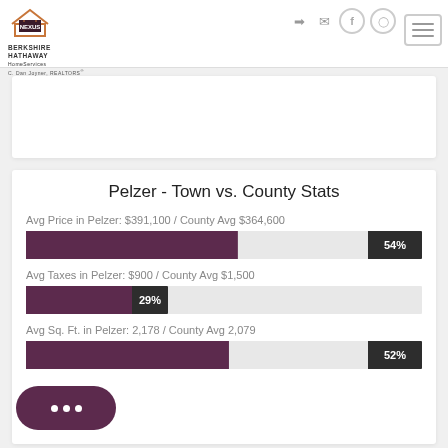Nexus Berkshire Hathaway HomeServices C. Dan Joyner, REALTORS
Pelzer - Town vs. County Stats
Avg Price in Pelzer: $391,100 / County Avg $364,600
[Figure (bar-chart): Avg Price in Pelzer bar]
Avg Taxes in Pelzer: $900 / County Avg $1,500
[Figure (bar-chart): Avg Taxes in Pelzer bar]
Avg Sq. Ft. in Pelzer: 2,178 / County Avg 2,079
[Figure (bar-chart): Avg Sq Ft in Pelzer bar]